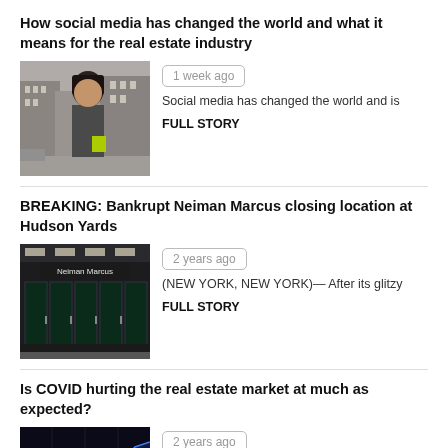How social media has changed the world and what it means for the real estate industry
[Figure (photo): Young woman with dark hair in an urban street setting]
1 week ago
Social media has changed the world and is
FULL STORY
BREAKING: Bankrupt Neiman Marcus closing location at Hudson Yards
[Figure (photo): Neiman Marcus store front entrance]
2 years ago
(NEW YORK, NEW YORK)— After its glitzy
FULL STORY
Is COVID hurting the real estate market at much as expected?
[Figure (photo): Stock market chart on dark screen]
2 years ago
(NEW YORK, NEW YORK)— A shocking